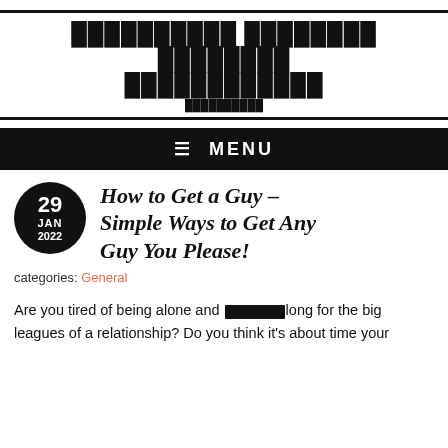██████████ ████████ ████████ ████████████
██████████
≡ MENU
How to Get a Guy – Simple Ways to Get Any Guy You Please!
categories: General
Are you tired of being alone and ███████long for the big leagues of a relationship? Do you think it's about time your